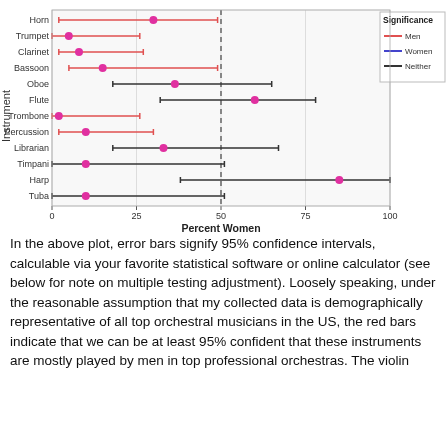[Figure (continuous-plot): Horizontal dot plot with error bars showing percent women for each orchestral instrument. Color of line indicates significance: red=Men, blue=Women, black=Neither. Instruments: Horn, Trumpet, Clarinet, Bassoon, Oboe, Flute, Trombone, Percussion, Librarian, Timpani, Harp, Tuba. X-axis: Percent Women (0-100). Dashed vertical line at 50%.]
In the above plot, error bars signify 95% confidence intervals, calculable via your favorite statistical software or online calculator (see below for note on multiple testing adjustment). Loosely speaking, under the reasonable assumption that my collected data is demographically representative of all top orchestral musicians in the US, the red bars indicate that we can be at least 95% confident that these instruments are mostly played by men in top professional orchestras. The violin